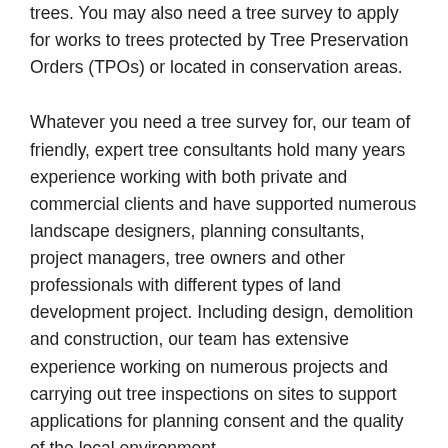trees. You may also need a tree survey to apply for works to trees protected by Tree Preservation Orders (TPOs) or located in conservation areas.
Whatever you need a tree survey for, our team of friendly, expert tree consultants hold many years experience working with both private and commercial clients and have supported numerous landscape designers, planning consultants, project managers, tree owners and other professionals with different types of land development project. Including design, demolition and construction, our team has extensive experience working on numerous projects and carrying out tree inspections on sites to support applications for planning consent and the quality of the local environment.